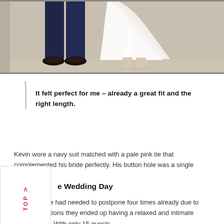[Figure (photo): Lower half of a couple: groom in navy suit with dark dress shoes on the left, bride in white/ivory satin A-line dress on the right, standing on a light-colored floor against a beige/cream wall]
It felt perfect for me – already a great fit and the right length.
Kevin wore a navy suit matched with a pale pink tie that complemented his bride perfectly. His button hole was a single cream rose.
e Wedding Day
As the couple had needed to postpone four times already due to Covid restrictions they ended up having a relaxed and intimate wedding day. With only 15 guests